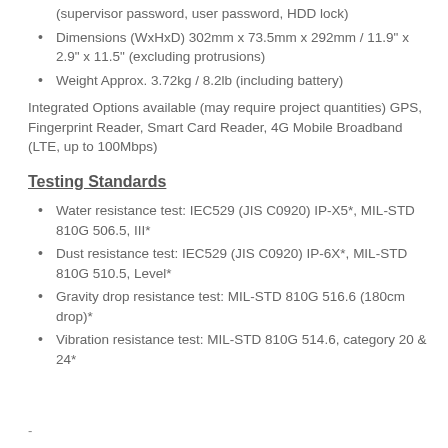(supervisor password, user password, HDD lock)
Dimensions (WxHxD) 302mm x 73.5mm x 292mm / 11.9" x 2.9" x 11.5" (excluding protrusions)
Weight Approx. 3.72kg / 8.2lb (including battery)
Integrated Options available (may require project quantities) GPS, Fingerprint Reader, Smart Card Reader, 4G Mobile Broadband (LTE, up to 100Mbps)
Testing Standards
Water resistance test: IEC529 (JIS C0920) IP-X5*, MIL-STD 810G 506.5, III*
Dust resistance test: IEC529 (JIS C0920) IP-6X*, MIL-STD 810G 510.5, Level*
Gravity drop resistance test: MIL-STD 810G 516.6 (180cm drop)*
Vibration resistance test: MIL-STD 810G 514.6, category 20 & 24*
-